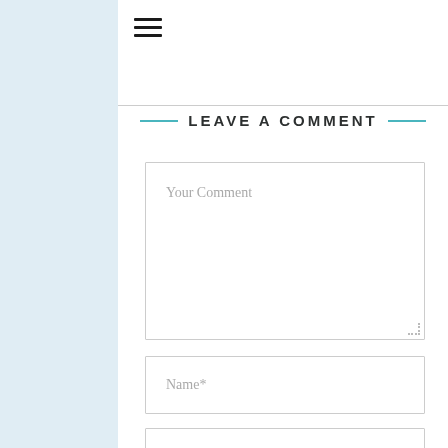[Figure (other): Hamburger menu icon with three horizontal lines]
LEAVE A COMMENT
Your Comment
Name*
Email*
Website